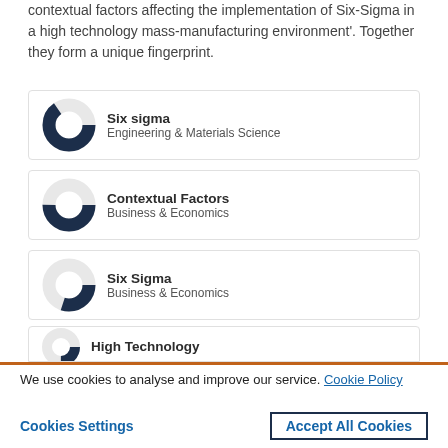contextual factors affecting the implementation of Six-Sigma in a high technology mass-manufacturing environment'. Together they form a unique fingerprint.
[Figure (donut-chart): Donut chart showing Six sigma - Engineering & Materials Science, approximately 90% fill]
[Figure (donut-chart): Donut chart showing Contextual Factors - Business & Economics, approximately 75% fill]
[Figure (donut-chart): Donut chart showing Six Sigma - Business & Economics, approximately 55% fill]
[Figure (donut-chart): Donut chart showing High Technology (partially visible)]
We use cookies to analyse and improve our service. Cookie Policy
Cookies Settings
Accept All Cookies